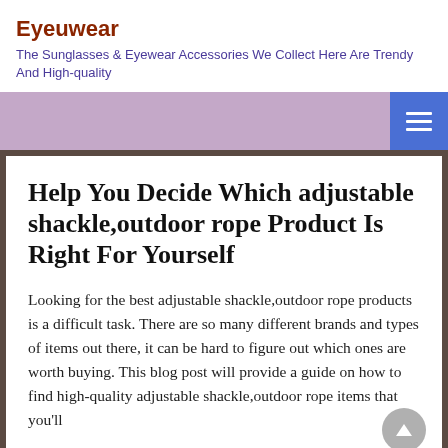Eyeuwear
The Sunglasses & Eyewear Accessories We Collect Here Are Trendy And High-quality
Help You Decide Which adjustable shackle,outdoor rope Product Is Right For Yourself
Looking for the best adjustable shackle,outdoor rope products is a difficult task. There are so many different brands and types of items out there, it can be hard to figure out which ones are worth buying. This blog post will provide a guide on how to find high-quality adjustable shackle,outdoor rope items that you'll